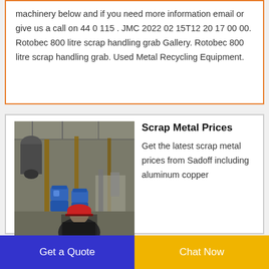machinery below and if you need more information email or give us a call on 44 0 115 . JMC 2022 02 15T12 20 17 00 00. Rotobec 800 litre scrap handling grab Gallery. Rotobec 800 litre scrap handling grab. Used Metal Recycling Equipment.
[Figure (photo): Industrial factory interior with machinery, blue equipment, metal structures, and a worker wearing a red hard hat in the foreground.]
Scrap Metal Prices
Get the latest scrap metal prices from Sadoff including aluminum copper iron and more. See the full price list for all ferrous and non ferrous metals.
Get a Quote
Chat Now